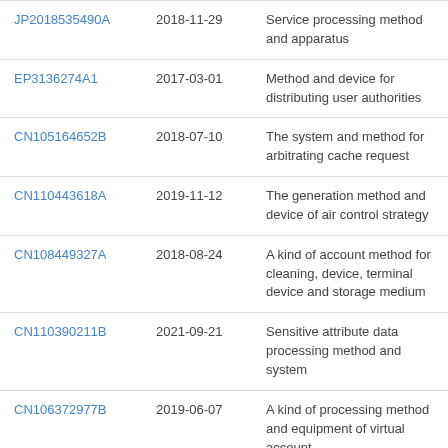| JP2018535490A | 2018-11-29 | Service processing method and apparatus |
| EP3136274A1 | 2017-03-01 | Method and device for distributing user authorities |
| CN105164652B | 2018-07-10 | The system and method for arbitrating cache request |
| CN110443618A | 2019-11-12 | The generation method and device of air control strategy |
| CN108449327A | 2018-08-24 | A kind of account method for cleaning, device, terminal device and storage medium |
| CN110390211B | 2021-09-21 | Sensitive attribute data processing method and system |
| CN106372977B | 2019-06-07 | A kind of processing method and equipment of virtual account... |